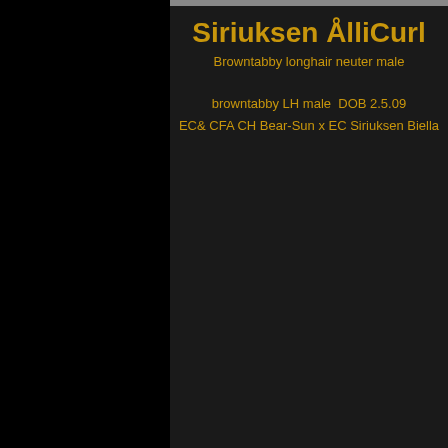Siriuksen ÅlliCurl
Browntabby longhair neuter male
browntabby LH male  DOB 2.5.09
EC& CFA CH Bear-Sun x EC Siriuksen Biella